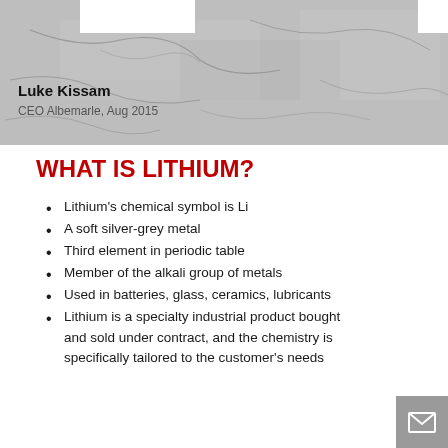[Figure (photo): Cracked grey stone/clay texture background with white boxes at top. Overlaid text shows speaker name and title.]
Luke Kissam
CEO Albemarle, Aug 2015
WHAT IS LITHIUM?
Lithium's chemical symbol is Li
A soft silver-grey metal
Third element in periodic table
Member of the alkali group of metals
Used in batteries, glass, ceramics, lubricants
Lithium is a specialty industrial product bought and sold under contract, and the chemistry is specifically tailored to the customer's needs